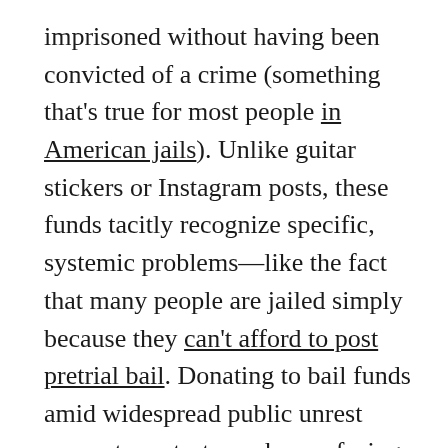imprisoned without having been convicted of a crime (something that's true for most people in American jails). Unlike guitar stickers or Instagram posts, these funds tacitly recognize specific, systemic problems—like the fact that many people are jailed simply because they can't afford to post pretrial bail. Donating to bail funds amid widespread public unrest supports protesters who are facing police willing to use aggressive arrest tactics to quell legal dissent.